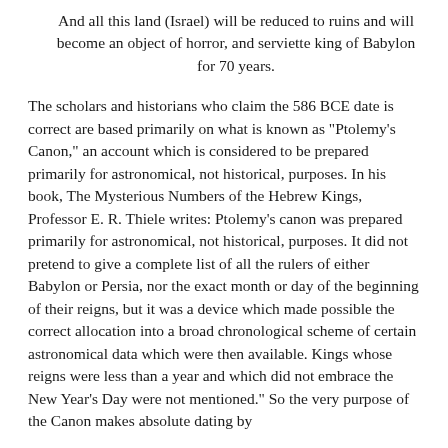And all this land (Israel) will be reduced to ruins and will become an object of horror, and serviette king of Babylon for 70 years.
The scholars and historians who claim the 586 BCE date is correct are based primarily on what is known as "Ptolemy's Canon," an account which is considered to be prepared primarily for astronomical, not historical, purposes. In his book, The Mysterious Numbers of the Hebrew Kings, Professor E. R. Thiele writes: Ptolemy's canon was prepared primarily for astronomical, not historical, purposes. It did not pretend to give a complete list of all the rulers of either Babylon or Persia, nor the exact month or day of the beginning of their reigns, but it was a device which made possible the correct allocation into a broad chronological scheme of certain astronomical data which were then available. Kings whose reigns were less than a year and which did not embrace the New Year's Day were not mentioned." So the very purpose of the Canon makes absolute dating by